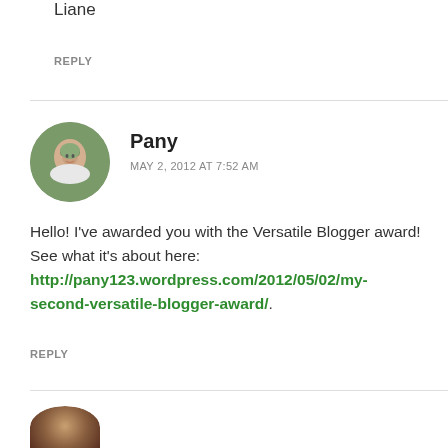Liane
REPLY
Pany
MAY 2, 2012 AT 7:52 AM
Hello! I've awarded you with the Versatile Blogger award! See what it's about here: http://pany123.wordpress.com/2012/05/02/my-second-versatile-blogger-award/.
REPLY